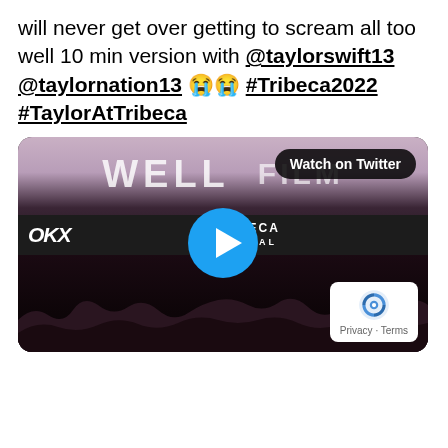will never get over getting to scream all too well 10 min version with @taylorswift13 @taylornation13 😭😭 #Tribeca2022 #TaylorAtTribeca
[Figure (screenshot): A video thumbnail from a concert/event at Tribeca Festival 2022, showing a dark crowd scene with a banner reading 'WELL FILM' and a Tribeca Festival logo strip. A blue play button circle is overlaid in the center. A 'Watch on Twitter' badge appears top-right. A reCAPTCHA privacy badge appears bottom-right.]